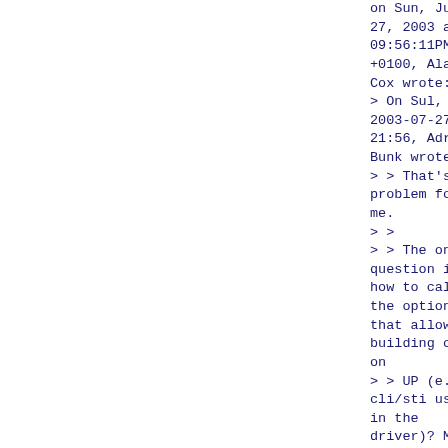on Sun, Jul 27, 2003 at 09:56:11PM +0100, Alan Cox wrote:
> On Sul, 2003-07-27 at 21:56, Adrian Bunk wrote:
> > That's no problem for me.
> >
> > The only question is how to call the option that allows building only on
> > UP (e.g. cli/sti usage in the driver)? My suggestion was BROKEN_ON_SMP,
> > would you suggest OBSOLETE_ON_SMP?
>
> Interesting